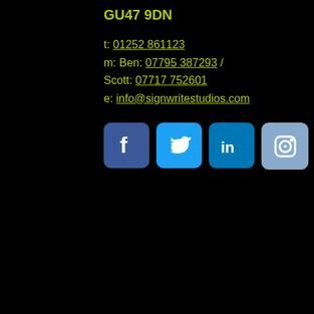GU47 9DN
t: 01252 861123
m: Ben: 07795 387293 / Scott: 07717 752601
e: info@signwritestudios.com
[Figure (other): Social media icons: Facebook, Twitter, LinkedIn, Instagram]